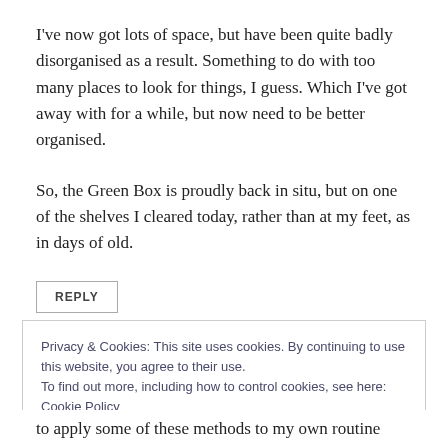I've now got lots of space, but have been quite badly disorganised as a result. Something to do with too many places to look for things, I guess. Which I've got away with for a while, but now need to be better organised.
So, the Green Box is proudly back in situ, but on one of the shelves I cleared today, rather than at my feet, as in days of old.
REPLY
Privacy & Cookies: This site uses cookies. By continuing to use this website, you agree to their use.
To find out more, including how to control cookies, see here: Cookie Policy
Close and accept
to apply some of these methods to my own routine